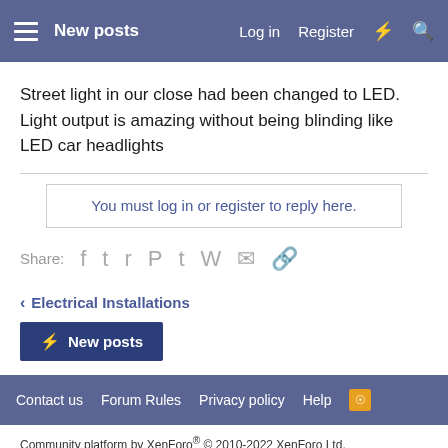New posts  Log in  Register
Street light in our close had been changed to LED. Light output is amazing without being blinding like LED car headlights
You must log in or register to reply here.
Share:
< Electrical Installations
New posts
Contact us  Forum Rules  Privacy policy  Help
Community platform by XenForo® © 2010-2022 XenForo Ltd.